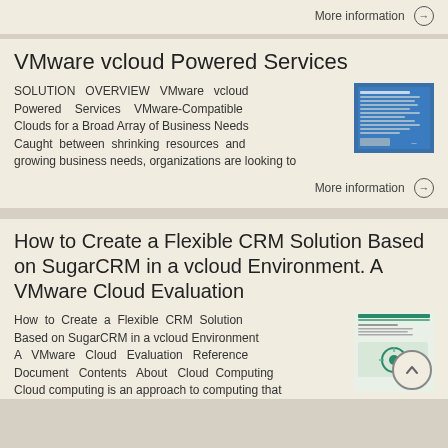More information →
VMware vcloud Powered Services
SOLUTION OVERVIEW VMware vcloud Powered Services VMware-Compatible Clouds for a Broad Array of Business Needs Caught between shrinking resources and growing business needs, organizations are looking to
More information →
How to Create a Flexible CRM Solution Based on SugarCRM in a vcloud Environment. A VMware Cloud Evaluation
How to Create a Flexible CRM Solution Based on SugarCRM in a vcloud Environment A VMware Cloud Evaluation Reference Document Contents About Cloud Computing Cloud computing is an approach to computing that